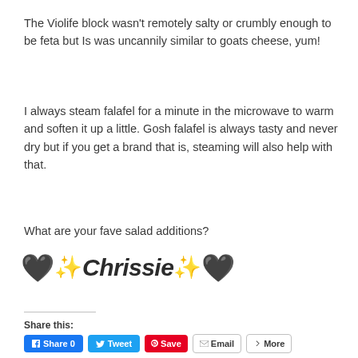The Violife block wasn't remotely salty or crumbly enough to be feta but Is was uncannily similar to goats cheese, yum!
I always steam falafel for a minute in the microwave to warm and soften it up a little. Gosh falafel is always tasty and never dry but if you get a brand that is, steaming will also help with that.
What are your fave salad additions?
🖤 ✨Chrissie✨ 🖤
Share this:
Share 0   Tweet   Save   Email   More